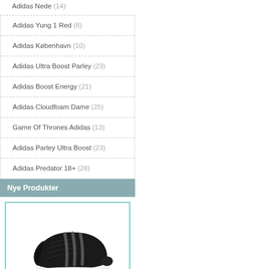Adidas Nede (14)
Adidas Yung 1 Red (8)
Adidas København (10)
Adidas Ultra Boost Parley (23)
Adidas Boost Energy (21)
Adidas Cloudfoam Dame (25)
Game Of Thrones Adidas (13)
Adidas Parley Ultra Boost (23)
Adidas Predator 18+ (28)
Nye Produkter
[Figure (photo): Black Adidas sneaker shoe with white sole on white background]